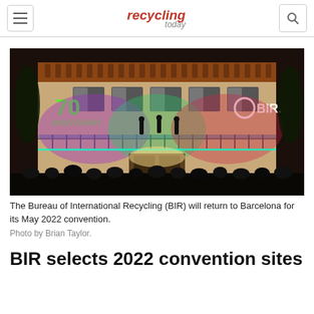recycling today
[Figure (photo): Night-time photograph of a building facade in Barcelona illuminated with colorful lights (purple, green, red). A green '70' logo is projected on the left side and a white BIR logo on the right. People standing on a balcony and crowd gathered below.]
The Bureau of International Recycling (BIR) will return to Barcelona for its May 2022 convention.
Photo by Brian Taylor.
BIR selects 2022 convention sites